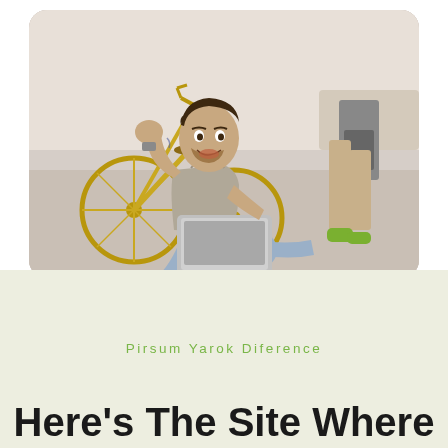[Figure (photo): A smiling man sitting on the floor of an office with a laptop on his lap, wearing a grey shirt and blue trousers. A bicycle is visible to his left. Another person stands in the background. The photo has rounded corners.]
Pirsum Yarok Diference
Here's The Site Where